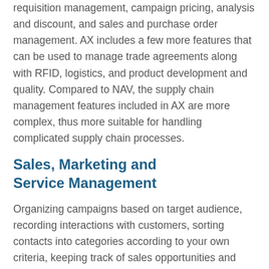requisition management, campaign pricing, analysis and discount, and sales and purchase order management. AX includes a few more features that can be used to manage trade agreements along with RFID, logistics, and product development and quality. Compared to NAV, the supply chain management features included in AX are more complex, thus more suitable for handling complicated supply chain processes.
Sales, Marketing and Service Management
Organizing campaigns based on target audience, recording interactions with customers, sorting contacts into categories according to your own criteria, keeping track of sales opportunities and setting up sales and marketing activities have never been